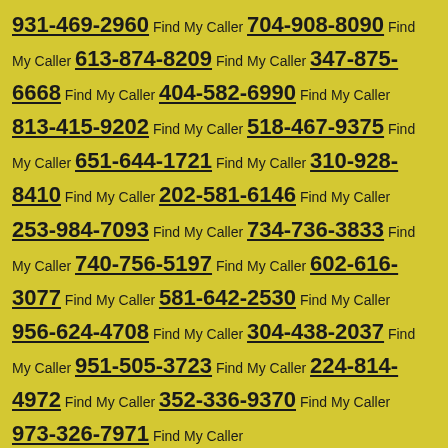931-469-2960 Find My Caller 704-908-8090 Find My Caller 613-874-8209 Find My Caller 347-875-6668 Find My Caller 404-582-6990 Find My Caller 813-415-9202 Find My Caller 518-467-9375 Find My Caller 651-644-1721 Find My Caller 310-928-8410 Find My Caller 202-581-6146 Find My Caller 253-984-7093 Find My Caller 734-736-3833 Find My Caller 740-756-5197 Find My Caller 602-616-3077 Find My Caller 581-642-2530 Find My Caller 956-624-4708 Find My Caller 304-438-2037 Find My Caller 951-505-3723 Find My Caller 224-814-4972 Find My Caller 352-336-9370 Find My Caller 973-326-7971 Find My Caller
First Hand Gatherings About Your Caller
They live in Ontario. More precisely they've been active in the city of Brantford.
We do know a little bit more, off the cuff: